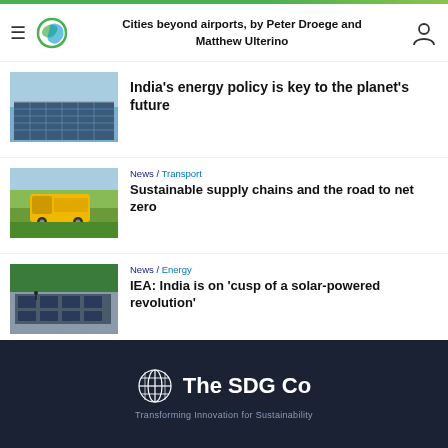Cities beyond airports, by Peter Droege and Matthew Ulterino
[Figure (photo): Aerial view of solar panels]
India's energy policy is key to the planet's future
[Figure (photo): Yellow DHL delivery truck driving through green fields]
News / Transport
Sustainable supply chains and the road to net zero
[Figure (photo): Rooftop solar panels on a building surrounded by trees]
News / Energy
IEA: India is on 'cusp of a solar-powered revolution'
The SDG Co — Transforming Innovation for Sustainability